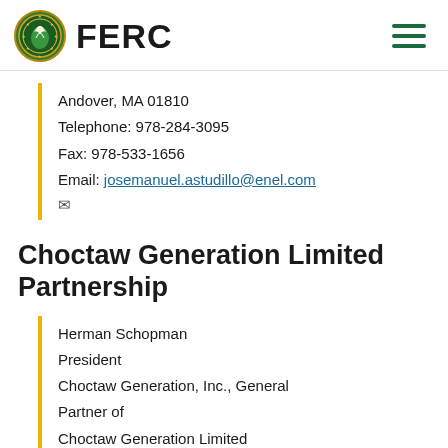FERC
Andover, MA 01810
Telephone: 978-284-3095
Fax: 978-533-1656
Email: josemanuel.astudillo@enel.com
Choctaw Generation Limited Partnership
Herman Schopman
President
Choctaw Generation, Inc., General Partner of
Choctaw Generation Limited